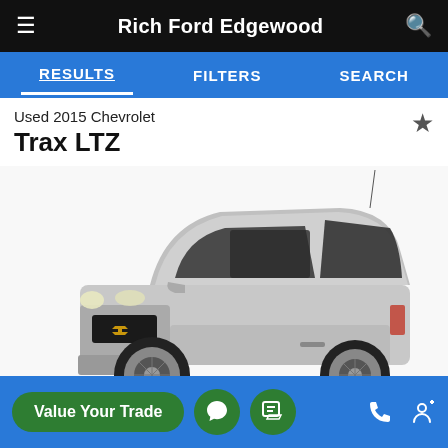Rich Ford Edgewood
RESULTS   FILTERS   SEARCH
Used 2015 Chevrolet
Trax LTZ
[Figure (photo): 2015 Chevrolet Trax LTZ silver SUV, front three-quarter view on white background]
Value Your Trade